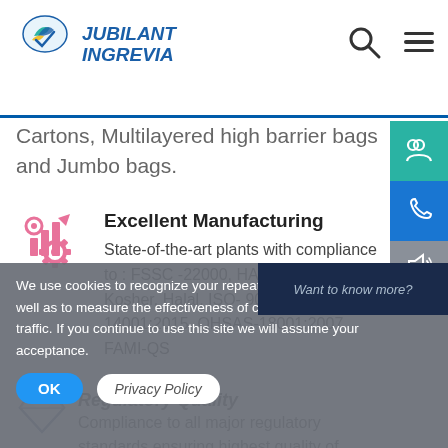Jubilant Ingrevia
Cartons, Multilayered high barrier bags and Jumbo bags.
[Figure (illustration): Pink manufacturing/gear icon illustration]
Excellent Manufacturing
State-of-the-art plants with compliance to : FSSC -22000, HACCP, c-GMP, Kosher, Halal, ISO- 9001:2015, ISO-14001:2015, OHSAS-18001:2007, FAMI-QS
[Figure (illustration): Diamond/gem icon illustration]
Regulatory Quality
Compliance to all major regulatory standards ensuring highest quality of
We use cookies to recognize your repeat visits and preferences, as well as to measure the effectiveness of campaigns and analyse traffic. If you continue to use this site we will assume your acceptance.
OK
Privacy Policy
Want to know more?